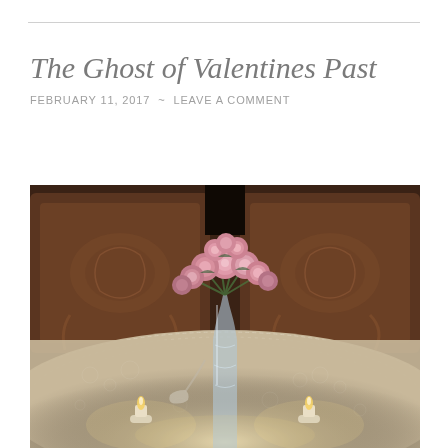The Ghost of Valentines Past
FEBRUARY 11, 2017  ~  LEAVE A COMMENT
[Figure (photo): A photograph of pink roses in a crystal vase on a lace-covered table, with two lit candles at the base, and ornate wooden chairs in the background. The image has a warm, dim, romantic ambiance.]